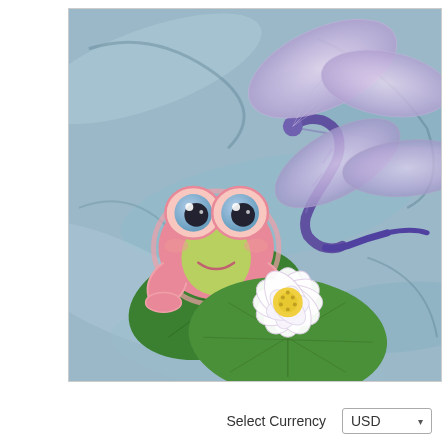[Figure (photo): Embroidered/quilted applique scene on blue marbled fabric background. Features: a cute pink cartoon frog sitting on a green lily pad (left), a purple dragonfly with iridescent wings (upper right), and a white water lily flower on a green lily pad (center bottom).]
Select Currency  USD